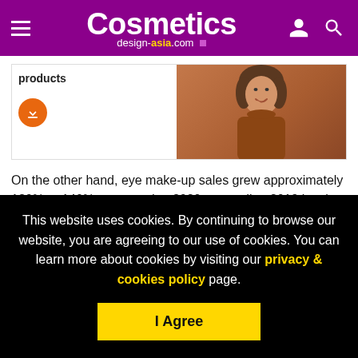Cosmetics design-asia.com
[Figure (photo): Promotional card showing partially visible text '...products' with an orange download button and a woman smiling, leaning on her hand, wearing a brown top]
On the other hand, eye make-up sales grew approximately 130% to 140% compared to 2020, exceeding 2019 levels.
Kao noted that these losses were in line with its expectations
This website uses cookies. By continuing to browse our website, you are agreeing to our use of cookies. You can learn more about cookies by visiting our privacy & cookies policy page.
I Agree